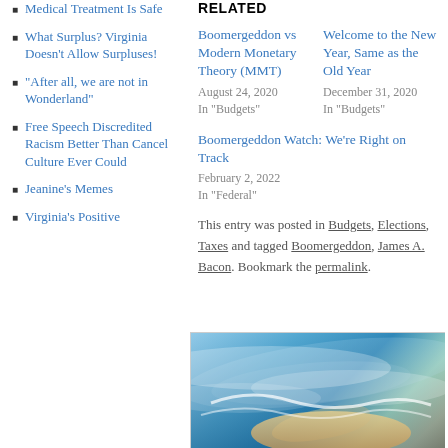Medical Treatment Is Safe
What Surplus? Virginia Doesn't Allow Surpluses!
“After all, we are not in Wonderland”
Free Speech Discredited Racism Better Than Cancel Culture Ever Could
Jeanine’s Memes
Virginia’s Positive
RELATED
Boomergeddon vs Modern Monetary Theory (MMT)
August 24, 2020
In "Budgets"
Welcome to the New Year, Same as the Old Year
December 31, 2020
In "Budgets"
Boomergeddon Watch: We’re Right on Track
February 2, 2022
In "Federal"
This entry was posted in Budgets, Elections, Taxes and tagged Boomergeddon, James A. Bacon. Bookmark the permalink.
[Figure (photo): Aerial or coastal photo showing ocean waves and shoreline with sandy beach]